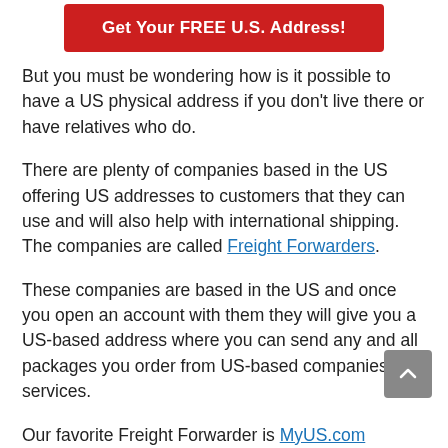[Figure (other): Red button with white text reading 'Get Your FREE U.S. Address!']
But you must be wondering how is it possible to have a US physical address if you don't live there or have relatives who do.
There are plenty of companies based in the US offering US addresses to customers that they can use and will also help with international shipping. The companies are called Freight Forwarders.
These companies are based in the US and once you open an account with them they will give you a US-based address where you can send any and all packages you order from US-based companies and services.
Our favorite Freight Forwarder is MyUS.com